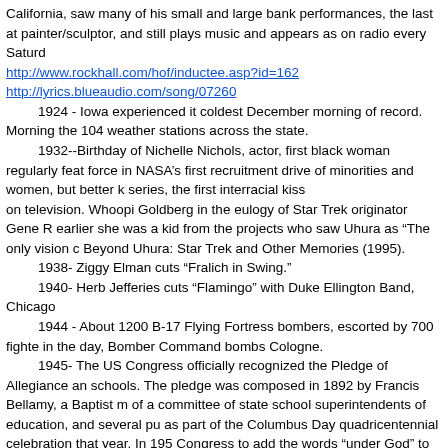California, saw many of his small and large bank performances, the last at painter/sculptor, and still plays music and appears as on radio every Saturd
http://www.rockhall.com/hof/inductee.asp?id=162
http://lyrics.blueaudio.com/song/07260
1924 - Iowa experienced it coldest December morning of record. Morning the 104 weather stations across the state.
1932--Birthday of Nichelle Nichols, actor, first black woman regularly feat force in NASA's first recruitment drive of minorities and women, but better k series, the first interracial kiss on television. Whoopi Goldberg in the eulogy of Star Trek originator Gene R earlier she was a kid from the projects who saw Uhura as "The only vision c Beyond Uhura: Star Trek and Other Memories (1995).
1938- Ziggy Elman cuts “Fralich in Swing.”
1940- Herb Jefferies cuts “Flamingo” with Duke Ellington Band, Chicago
1944 - About 1200 B-17 Flying Fortress bombers, escorted by 700 fighte in the day, Bomber Command bombs Cologne.
1945- The US Congress officially recognized the Pledge of Allegiance an schools. The pledge was composed in 1892 by Francis Bellamy, a Baptist m of a committee of state school superintendents of education, and several pu as part of the Columbus Day quadricentennial celebration that year. In 195 Congress to add the words “under God” to the pledge.
1949- Top Hits
I Can Dream, Can't I? - The Tommy Dorsey Orchestra (vocal: Jack Leonard
A Dreamer’s Holiday - Perry Como
Dear Hearts and Gentle People - Bing Crosby
Mule Train - Tennessee Ernie Ford
1950--Birthday of American Composer Daniel Leo Simpson, born Ft. Mor
1952- The Sonotone Corporation, Elmsford, NY, offered for sale a hearin ounces and was three inches long.
1954-Denzel Washington actor ("St. Elsewhere," Glory, Malcolm X), born